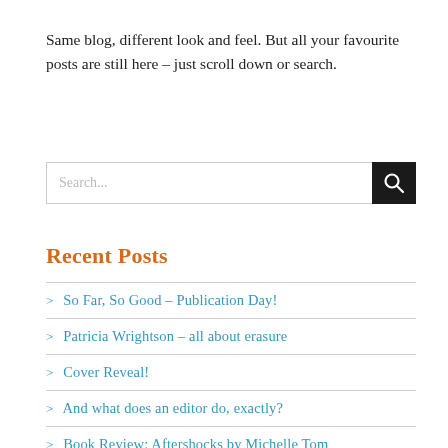Same blog, different look and feel. But all your favourite posts are still here – just scroll down or search.
[Figure (other): Search input box with placeholder text 'Search...' and a black search button with magnifying glass icon]
Recent Posts
> So Far, So Good – Publication Day!
> Patricia Wrightson – all about erasure
> Cover Reveal!
> And what does an editor do, exactly?
> Book Review: Aftershocks by Michelle Tom